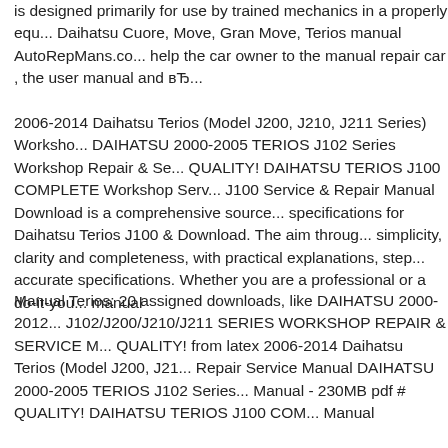is designed primarily for use by trained mechanics in a properly equ... Daihatsu Cuore, Move, Gran Move, Terios manual AutoRepMans.co... help the car owner to the manual repair car , the user manual and вЂ...
2006-2014 Daihatsu Terios (Model J200, J210, J211 Series) Worksho... DAIHATSU 2000-2005 TERIOS J102 Series Workshop Repair & Se... QUALITY! DAIHATSU TERIOS J100 COMPLETE Workshop Serv... J100 Service & Repair Manual Download is a comprehensive source... specifications for Daihatsu Terios J100 & Download. The aim throug... simplicity, clarity and completeness, with practical explanations, step... accurate specifications. Whether you are a professional or a do-it-you... manual
Manual Terios: 20 assigned downloads, like DAIHATSU 2000-2012... J102/J200/J210/J211 SERIES WORKSHOP REPAIR & SERVICE M... QUALITY! from latex 2006-2014 Daihatsu Terios (Model J200, J21... Repair Service Manual DAIHATSU 2000-2005 TERIOS J102 Series... Manual - 230MB pdf # QUALITY! DAIHATSU TERIOS J100 COM... Manual